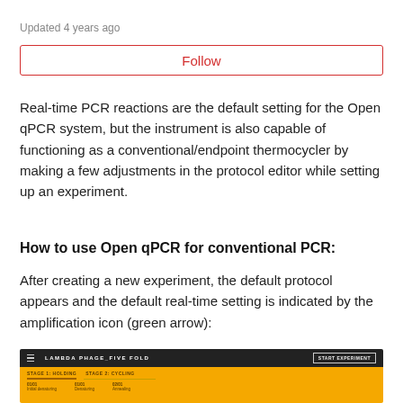Updated 4 years ago
Follow
Real-time PCR reactions are the default setting for the Open qPCR system, but the instrument is also capable of functioning as a conventional/endpoint thermocycler by making a few adjustments in the protocol editor while setting up an experiment.
How to use Open qPCR for conventional PCR:
After creating a new experiment, the default protocol appears and the default real-time setting is indicated by the amplification icon (green arrow):
[Figure (screenshot): Screenshot of Open qPCR software interface showing LAMBDA PHAGE_FIVE FOLD experiment with START EXPERIMENT button, protocol stages including STAGE 1 HOLDING and STAGE 2 CYCLING with step details, on a yellow/orange background with dark header bar.]